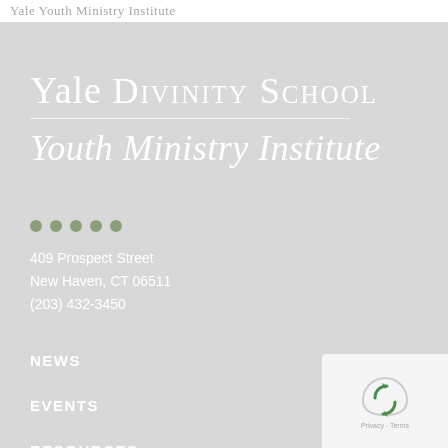Yale Youth Ministry Institute
Yale Divinity School
Youth Ministry Institute
409 Prospect Street
New Haven, CT 06511
(203) 432-3450
NEWS
EVENTS
RESOURCES